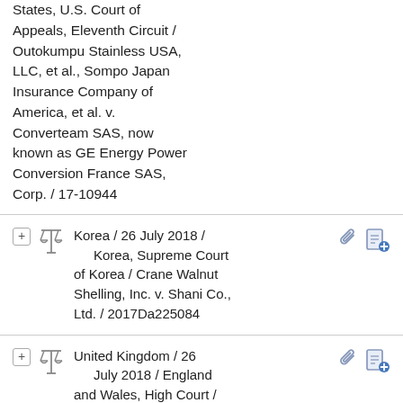States, U.S. Court of Appeals, Eleventh Circuit / Outokumpu Stainless USA, LLC, et al., Sompo Japan Insurance Company of America, et al. v. Converteam SAS, now known as GE Energy Power Conversion France SAS, Corp. / 17-10944
Korea / 26 July 2018 / Korea, Supreme Court of Korea / Crane Walnut Shelling, Inc. v. Shani Co., Ltd. / 2017Da225084
United Kingdom / 26 July 2018 / England and Wales, High Court / Franke Jan Sodzawiczny v. Andrew Joseph Ruhan and others / CL-2018-000328